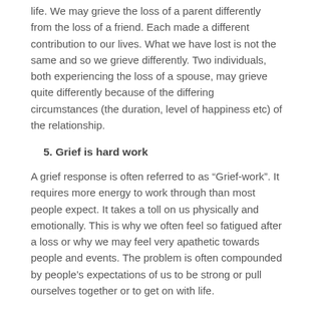life. We may grieve the loss of a parent differently from the loss of a friend. Each made a different contribution to our lives. What we have lost is not the same and so we grieve differently. Two individuals, both experiencing the loss of a spouse, may grieve quite differently because of the differing circumstances (the duration, level of happiness etc) of the relationship.
5. Grief is hard work
A grief response is often referred to as “Grief-work”. It requires more energy to work through than most people expect. It takes a toll on us physically and emotionally. This is why we often feel so fatigued after a loss or why we may feel very apathetic towards people and events. The problem is often compounded by people’s expectations of us to be strong or pull ourselves together or to get on with life.